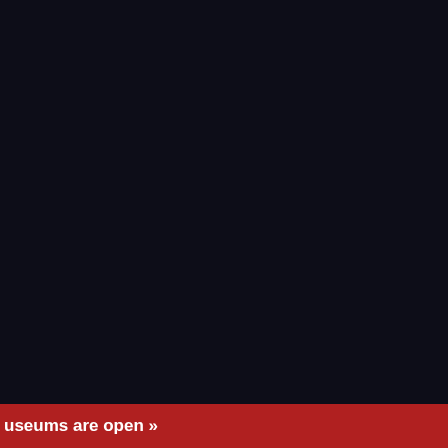gain from beginning to … minutes of extra sunlig…
Here are a few more i… cross the celestial equ… onto the sky, on Marc… rises due East and set… nighttime hours are eq… springtime twilight at n… plane of the planets – angle (about 68 degre… result, evening planets… another: This amounts… planet, above the horiz… deepening twilight. Tak…
A faint green gia…
Uranus isn't normally t… reality it is. The ice gia… the distant dwarf plane… Though it measures ab… distance Uranus shine… magnitude for naked-e…
useums are open »